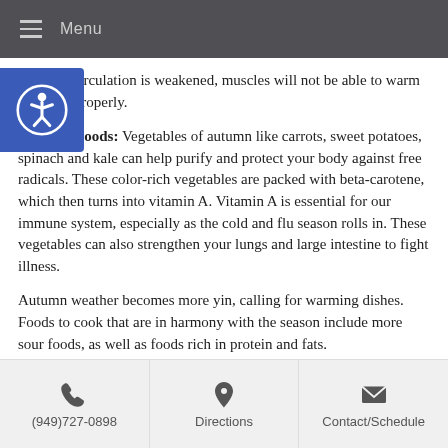Menu
If the Qi circulation is weakened, muscles will not be able to warm the body properly.
Autumn Foods: Vegetables of autumn like carrots, sweet potatoes, spinach and kale can help purify and protect your body against free radicals. These color-rich vegetables are packed with beta-carotene, which then turns into vitamin A. Vitamin A is essential for our immune system, especially as the cold and flu season rolls in. These vegetables can also strengthen your lungs and large intestine to fight illness.
Autumn weather becomes more yin, calling for warming dishes. Foods to cook that are in harmony with the season include more sour foods, as well as foods rich in protein and fats.
Vegetables to cook with:   Sour/pungent foods to cook
(949)727-0898   Directions   Contact/Schedule